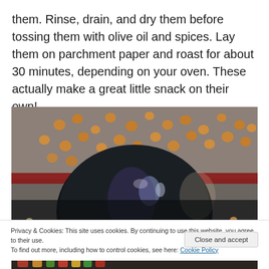them. Rinse, drain, and dry them before tossing them with olive oil and spices. Lay them on parchment paper and roast for about 30 minutes, depending on your oven. These actually make a great little snack on their own!
[Figure (photo): Roasted chickpeas on a baking sheet with a dark bowl in the foreground, blurred background showing golden-brown chickpeas scattered on parchment paper]
Privacy & Cookies: This site uses cookies. By continuing to use this website, you agree to their use.
To find out more, including how to control cookies, see here: Cookie Policy
[Figure (photo): Partial view of a colorful food dish at the bottom of the page]